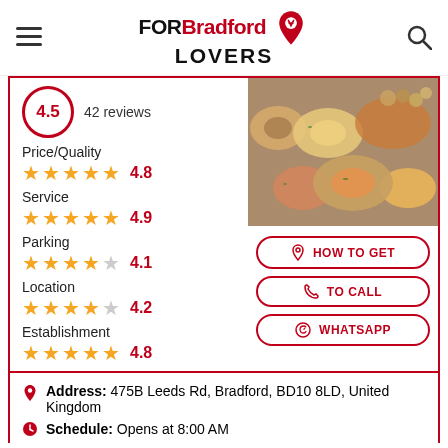FOR Bradford LOVERS
4.5 · 42 reviews
Price/Quality ★★★★★ 4.8
Service ★★★★★ 4.9
Parking ★★★★☆ 4.1
Location ★★★★☆ 4.2
Establishment ★★★★★ 4.8
[Figure (photo): Overhead photo of various Middle Eastern / Turkish food dishes on a wooden table]
HOW TO GET
TO CALL
WHATSAPP
Address: 475B Leeds Rd, Bradford, BD10 8LD, United Kingdom
Schedule: Opens at 8:00 AM